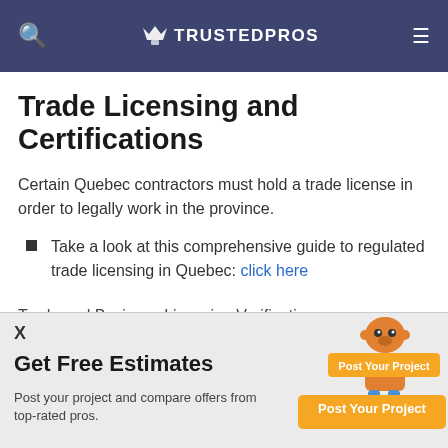🔍  ✦✦ TRUSTEDPROS  ≡
Trade Licensing and Certifications
Certain Quebec contractors must hold a trade license in order to legally work in the province.
Take a look at this comprehensive guide to regulated trade licensing in Quebec: click here
Trade and Business Licensing Verification
X
Get Free Estimates
Post your project and compare offers from top-rated pros.
[Figure (illustration): Orange cartoon robot mascot with 'Post Your Project' button overlay and orange CTA button]